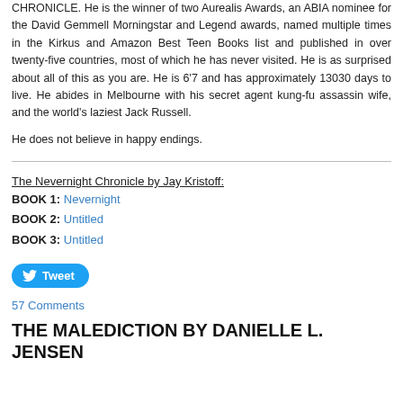CHRONICLE. He is the winner of two Aurealis Awards, an ABIA nominee for the David Gemmell Morningstar and Legend awards, named multiple times in the Kirkus and Amazon Best Teen Books list and published in over twenty-five countries, most of which he has never visited. He is as surprised about all of this as you are. He is 6'7 and has approximately 13030 days to live. He abides in Melbourne with his secret agent kung-fu assassin wife, and the world's laziest Jack Russell.
He does not believe in happy endings.
The Nevernight Chronicle by Jay Kristoff:
BOOK 1: Nevernight
BOOK 2: Untitled
BOOK 3: Untitled
Tweet
57 Comments
THE MALEDICTION BY DANIELLE L. JENSEN